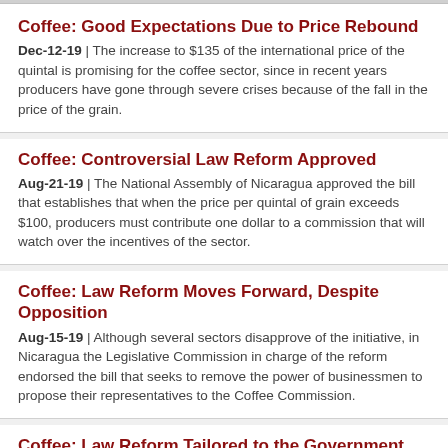Coffee: Good Expectations Due to Price Rebound
Dec-12-19 | The increase to $135 of the international price of the quintal is promising for the coffee sector, since in recent years producers have gone through severe crises because of the fall in the price of the grain.
Coffee: Controversial Law Reform Approved
Aug-21-19 | The National Assembly of Nicaragua approved the bill that establishes that when the price per quintal of grain exceeds $100, producers must contribute one dollar to a commission that will watch over the incentives of the sector.
Coffee: Law Reform Moves Forward, Despite Opposition
Aug-15-19 | Although several sectors disapprove of the initiative, in Nicaragua the Legislative Commission in charge of the reform endorsed the bill that seeks to remove the power of businessmen to propose their representatives to the Coffee Commission.
Coffee: Law Reform Tailored to the Government
Aug-6-19 | The Nicaraguan government seeks to deprive the business sector of the power to propose its representatives to the National Commission for the Transformation and Development of Coffee